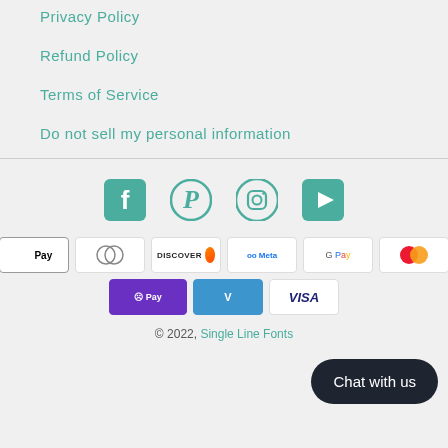Privacy Policy
Refund Policy
Terms of Service
Do not sell my personal information
[Figure (other): Social media icons: Facebook, Pinterest, Instagram, YouTube]
[Figure (other): Payment method icons: American Express, Apple Pay, Diners Club, Discover, Meta Pay, Google Pay, Mastercard, PayPal, Shop Pay, Venmo, Visa]
Chat with us
© 2022, Single Line Fonts